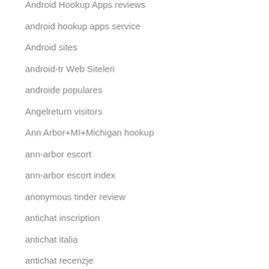Android Hookup Apps reviews
android hookup apps service
Android sites
android-tr Web Siteleri
androide populares
Angelreturn visitors
Ann Arbor+MI+Michigan hookup
ann-arbor escort
ann-arbor escort index
anonymous tinder review
antichat inscription
antichat italia
antichat recenzje
AntiChat visitors